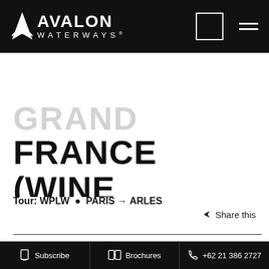Avalon Waterways
FRANCE (WINE APPRECIATION)
Tour: WPLW  •  PARIS → ARLES
Share this
On this France river cruise holiday, enjoy wine, cheese, beautiful views, and stops in the most charming and historical parts of France. Sail along the Seine River to the
Subscribe   Brochures   +62 21 386 2727